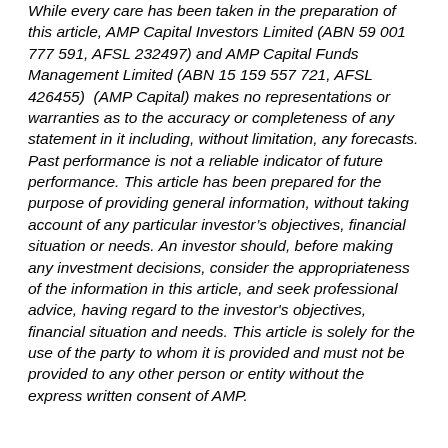While every care has been taken in the preparation of this article, AMP Capital Investors Limited (ABN 59 001 777 591, AFSL 232497) and AMP Capital Funds Management Limited (ABN 15 159 557 721, AFSL 426455)  (AMP Capital) makes no representations or warranties as to the accuracy or completeness of any statement in it including, without limitation, any forecasts. Past performance is not a reliable indicator of future performance. This article has been prepared for the purpose of providing general information, without taking account of any particular investor's objectives, financial situation or needs. An investor should, before making any investment decisions, consider the appropriateness of the information in this article, and seek professional advice, having regard to the investor's objectives, financial situation and needs. This article is solely for the use of the party to whom it is provided and must not be provided to any other person or entity without the express written consent of AMP.